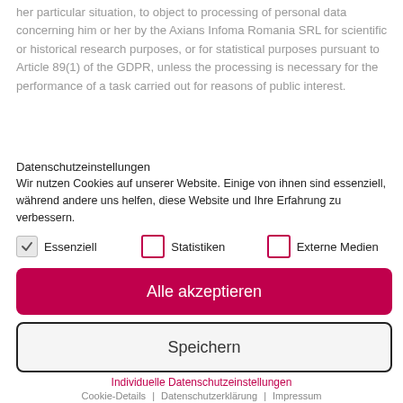her particular situation, to object to processing of personal data concerning him or her by the Axians Infoma Romania SRL for scientific or historical research purposes, or for statistical purposes pursuant to Article 89(1) of the GDPR, unless the processing is necessary for the performance of a task carried out for reasons of public interest.
Datenschutzeinstellungen
Wir nutzen Cookies auf unserer Website. Einige von ihnen sind essenziell, während andere uns helfen, diese Website und Ihre Erfahrung zu verbessern.
Essenziell   Statistiken   Externe Medien
Alle akzeptieren
Speichern
Individuelle Datenschutzeinstellungen
Cookie-Details | Datenschutzerklärung | Impressum